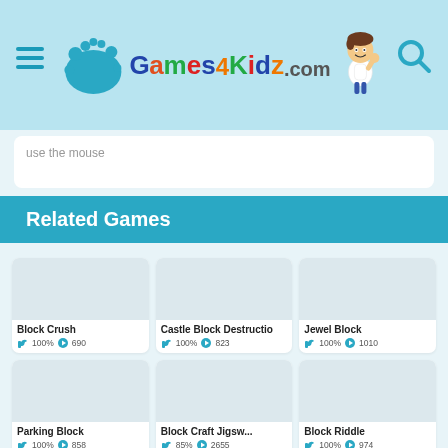[Figure (logo): Games4Kidz.com website header logo with cartoon kid mascot and colorful splat design]
use the mouse
Related Games
[Figure (screenshot): Block Crush game thumbnail placeholder]
Block Crush 100% 690
[Figure (screenshot): Castle Block Destructio game thumbnail placeholder]
Castle Block Destructio 100% 823
[Figure (screenshot): Jewel Block game thumbnail placeholder]
Jewel Block 100% 1010
[Figure (screenshot): Parking Block game thumbnail placeholder]
Parking Block 100% 858
[Figure (screenshot): Block Craft Jigsw... game thumbnail placeholder]
Block Craft Jigsw... 85% 2655
[Figure (screenshot): Block Riddle game thumbnail placeholder]
Block Riddle 100% 974